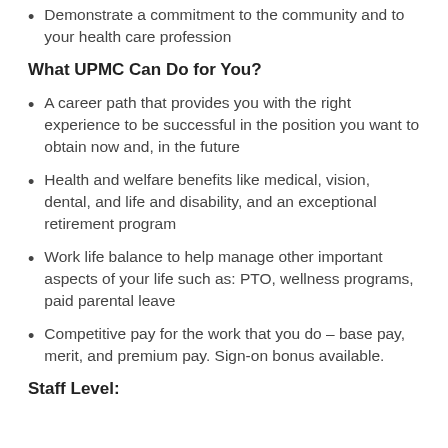Demonstrate a commitment to the community and to your health care profession
What UPMC Can Do for You?
A career path that provides you with the right experience to be successful in the position you want to obtain now and, in the future
Health and welfare benefits like medical, vision, dental, and life and disability, and an exceptional retirement program
Work life balance to help manage other important aspects of your life such as: PTO, wellness programs, paid parental leave
Competitive pay for the work that you do – base pay, merit, and premium pay. Sign-on bonus available.
Staff Level: